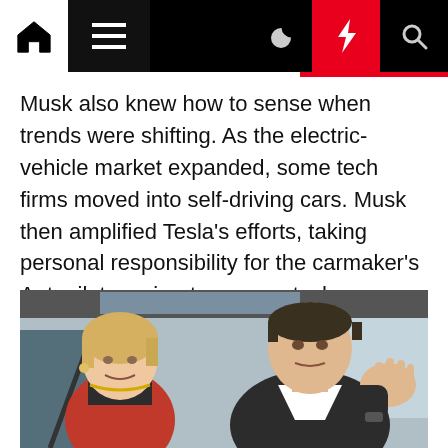Navigation bar with home, menu, dark mode, lightning, and search icons
Musk also knew how to sense when trends were shifting. As the electric-vehicle market expanded, some tech firms moved into self-driving cars. Musk then amplified Tesla's efforts, taking personal responsibility for the carmaker's Autopilot semi-autonomous tech.
[Figure (photo): Two people sitting inside a Tesla vehicle. On the left is a woman with short blonde hair wearing a red jacket and dark turtleneck with a gold necklace. On the right is a man in a dark suit gesturing with his right hand raised, appearing to be Elon Musk.]